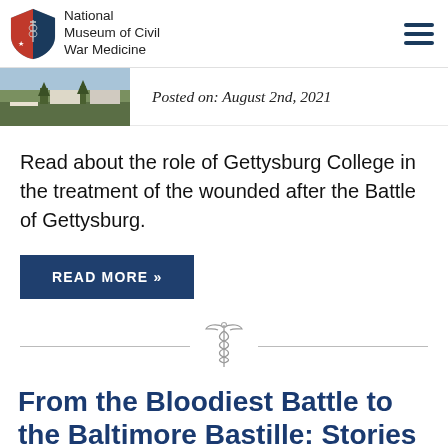National Museum of Civil War Medicine
Posted on: August 2nd, 2021
Read about the role of Gettysburg College in the treatment of the wounded after the Battle of Gettysburg.
READ MORE »
[Figure (illustration): Caduceus medical symbol divider]
From the Bloodiest Battle to the Baltimore Bastille: Stories of Gettysburg's